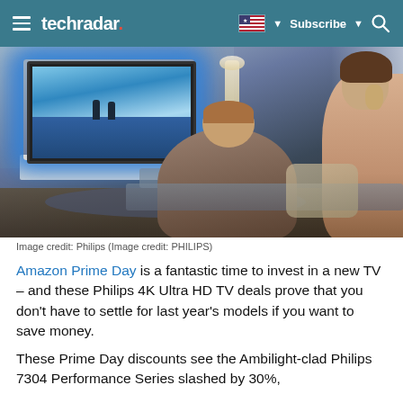techradar  Subscribe
[Figure (photo): Two people sitting on a couch watching a large Philips TV with Ambilight in a modern living room. The TV displays a blue ocean scene. A lamp is visible in the background, and there is a coffee table in front.]
Image credit: Philips (Image credit: PHILIPS)
Amazon Prime Day is a fantastic time to invest in a new TV – and these Philips 4K Ultra HD TV deals prove that you don't have to settle for last year's models if you want to save money.
These Prime Day discounts see the Ambilight-clad Philips 7304 Performance Series slashed by 30%,